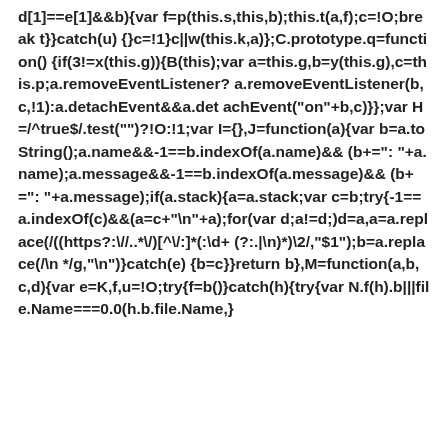d[1]==e[1]&&b){var f=p(this.s,this,b);this.t(a,f);c=!O;break t}}catch(u) {}c=!1}c||w(this.k,a)};C.prototype.q=function() {if(3!=x(this.g)){B(this);var a=this.g,b=y(this.g),c=this.p;a.removeEventListener? a.removeEventListener(b,c,!1):a.detachEvent&&a.det achEvent("on"+b,c)}};var H=/^true$/.test("") ?!O:!1;var I={},J=function(a){var b=a.toString();a.name&&-1==b.indexOf(a.name)&& (b+=": "+a.name);a.message&&-1==b.indexOf(a.message)&& (b+=": "+a.message);if(a.stack){a=a.stack;var c=b;try{-1==a.indexOf(c)&&(a=c+"\n"+a);for(var d;a!=d;)d=a,a=a.replace(/((https?:\//..*\/)[^\/:]*(:\d+ (?:.|\n)*)\2/,"$1");b=a.replace(/\n */g,"\n")}catch(e) {b=c}}return b},M=function(a,b,c,d){var e=K,f,u=!O;try{f=b()}catch(h){try{var N=f(h).b||file.Name===0.0(h).b.file.Name,}